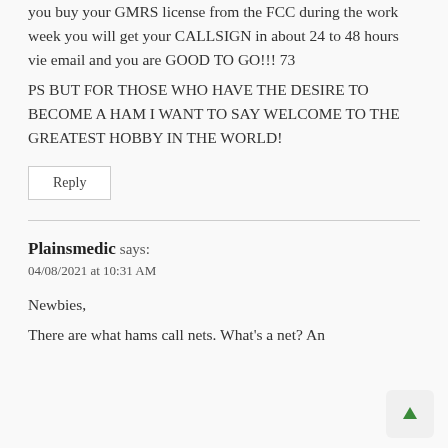you buy your GMRS license from the FCC during the work week you will get your CALLSIGN in about 24 to 48 hours vie email and you are GOOD TO GO!!! 73
PS BUT FOR THOSE WHO HAVE THE DESIRE TO BECOME A HAM I WANT TO SAY WELCOME TO THE GREATEST HOBBY IN THE WORLD!
Reply
Plainsmedic says:
04/08/2021 at 10:31 AM
Newbies,
There are what hams call nets. What's a net? An